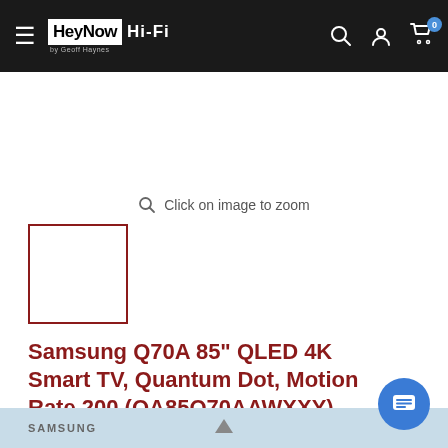HeyNow Hi-Fi by Geoff Haynes
[Figure (screenshot): Product thumbnail placeholder — empty white box with dark red border]
Click on image to zoom
Samsung Q70A 85" QLED 4K Smart TV, Quantum Dot, Motion Rate 200 (QA85Q70AAWXXY)
SAMSUNG